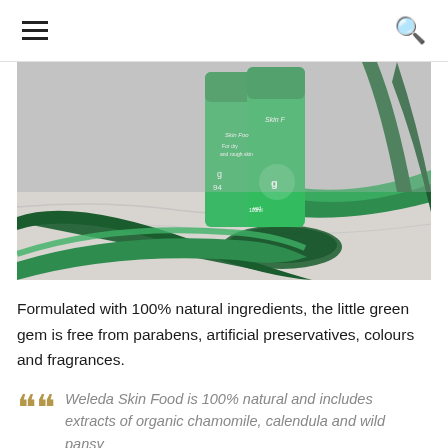☰  🔍
[Figure (photo): Green Weleda Skin Food product bottles standing on a marble surface wrapped with dark green satin ribbons]
Formulated with 100% natural ingredients, the little green gem is free from parabens, artificial preservatives, colours and fragrances.
Weleda Skin Food is 100% natural and includes extracts of organic chamomile, calendula and wild pansy